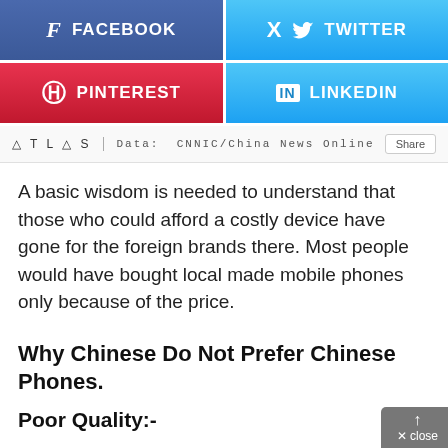[Figure (infographic): Four social media share buttons: Facebook (blue-purple), Twitter (light blue), Pinterest (red), LinkedIn (light blue)]
ATLAS  |  Data: CNNIC/China News Online    Share
A basic wisdom is needed to understand that those who could afford a costly device have gone for the foreign brands there. Most people would have bought local made mobile phones only because of the price.
Why Chinese Do Not Prefer Chinese Phones.
Poor Quality:-